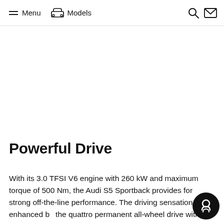Menu  Models
Powerful Drive
With its 3.0 TFSI V6 engine with 260 kW and maximum torque of 500 Nm, the Audi S5 Sportback provides for strong off-the-line performance. The driving sensation is enhanced by the quattro permanent all-wheel drive with an